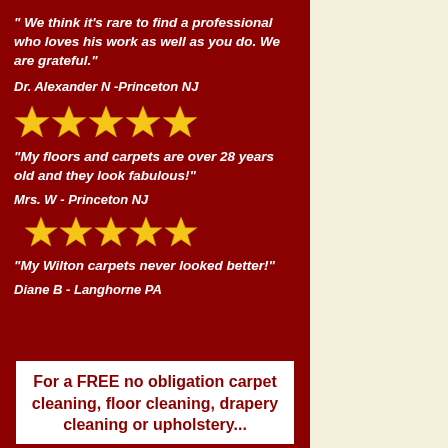" We think it's rare to find a professional who loves his work as well as you do. We are grateful."
Dr. Alexander N -Princeton  NJ
[Figure (illustration): Five gold/yellow star rating icons]
“My floors and carpets are over 28 years old and they look fabulous!”
Mrs. W - Princeton  NJ
[Figure (illustration): Five gold/yellow star rating icons]
“My Wilton carpets never looked better!”
Diane B -  Langhorne  PA
For a FREE no obligation carpet cleaning, floor cleaning,  drapery cleaning or upholstery...